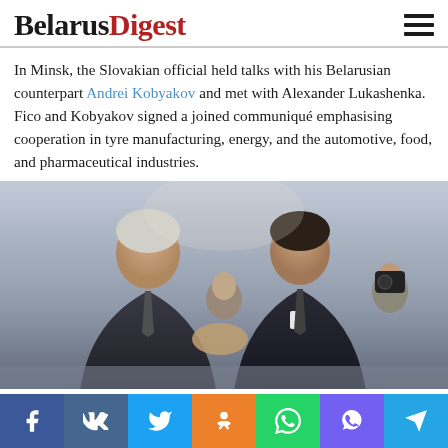BelarusDigest
In Minsk, the Slovakian official held talks with his Belarusian counterpart Andrei Kobyakov and met with Alexander Lukashenka. Fico and Kobyakov signed a joined communiqué emphasising cooperation in tyre manufacturing, energy, and the automotive, food, and pharmaceutical industries.
[Figure (photo): Two men in dark suits shaking hands in an ornate formal hall with columns, surrounded by other officials and staff. The setting appears to be a state reception room in Minsk, Belarus.]
Social sharing bar: Facebook, VK, Twitter, Odnoklassniki, WhatsApp, Viber, Telegram